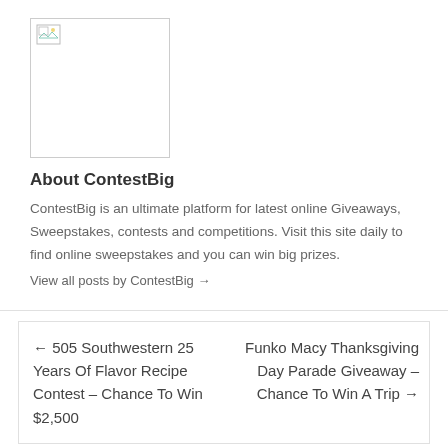[Figure (logo): ContestBig logo placeholder image box with broken image icon in top-left corner]
About ContestBig
ContestBig is an ultimate platform for latest online Giveaways, Sweepstakes, contests and competitions. Visit this site daily to find online sweepstakes and you can win big prizes.
View all posts by ContestBig →
← 505 Southwestern 25 Years Of Flavor Recipe Contest – Chance To Win $2,500
Funko Macy Thanksgiving Day Parade Giveaway – Chance To Win A Trip →